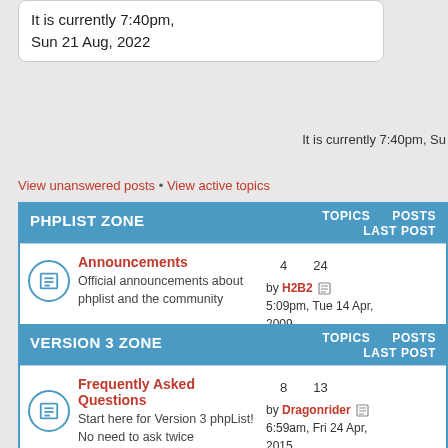It is currently 7:40pm, Sun 21 Aug, 2022
It is currently 7:40pm, Su
View unanswered posts • View active topics
| PHPLIST ZONE | TOPICS | POSTS | LAST POST |
| --- | --- | --- | --- |
| Announcements
Official announcements about phplist and the community | 4 | 24 | by H2B2
5:09pm, Tue 14 Apr, 2009 |
| VERSION 3 ZONE | TOPICS | POSTS | LAST POST |
| --- | --- | --- | --- |
| Frequently Asked Questions
Start here for Version 3 phpList! No need to ask twice | 8 | 13 | by Dragonrider
6:59am, Fri 24 Apr, 2015 |
| Does phpList do this?
Questions about Version 3 phpList features (the answer is probably 'Yes!') | 162 | 479 | by RickM |